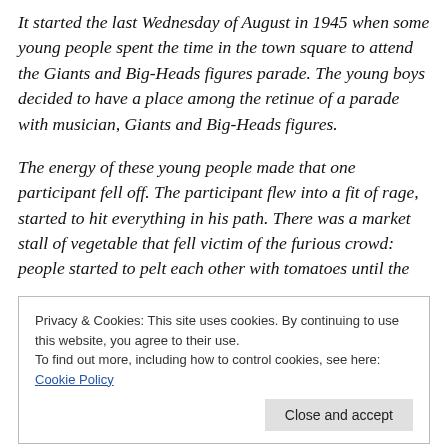It started the last Wednesday of August in 1945 when some young people spent the time in the town square to attend the Giants and Big-Heads figures parade. The young boys decided to have a place among the retinue of a parade with musician, Giants and Big-Heads figures.
The energy of these young people made that one participant fell off. The participant flew into a fit of rage, started to hit everything in his path. There was a market stall of vegetable that fell victim of the furious crowd: people started to pelt each other with tomatoes until the
Privacy & Cookies: This site uses cookies. By continuing to use this website, you agree to their use.
To find out more, including how to control cookies, see here: Cookie Policy
Festivity of International Tourist Interest by the Secretary